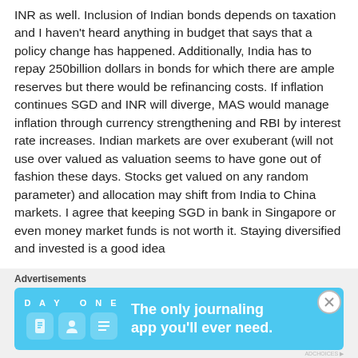INR as well. Inclusion of Indian bonds depends on taxation and I haven't heard anything in budget that says that a policy change has happened. Additionally, India has to repay 250billion dollars in bonds for which there are ample reserves but there would be refinancing costs. If inflation continues SGD and INR will diverge, MAS would manage inflation through currency strengthening and RBI by interest rate increases. Indian markets are over exuberant (will not use over valued as valuation seems to have gone out of fashion these days. Stocks get valued on any random parameter) and allocation may shift from India to China markets. I agree that keeping SGD in bank in Singapore or even money market funds is not worth it. Staying diversified and invested is a good idea
Advertisements
[Figure (other): Day One journaling app advertisement banner with blue background, app icons, and text 'The only journaling app you'll ever need.']